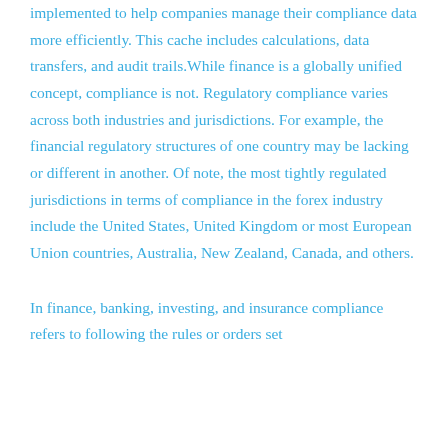implemented to help companies manage their compliance data more efficiently. This cache includes calculations, data transfers, and audit trails.While finance is a globally unified concept, compliance is not. Regulatory compliance varies across both industries and jurisdictions. For example, the financial regulatory structures of one country may be lacking or different in another. Of note, the most tightly regulated jurisdictions in terms of compliance in the forex industry include the United States, United Kingdom or most European Union countries, Australia, New Zealand, Canada, and others.
In finance, banking, investing, and insurance compliance refers to following the rules or orders set